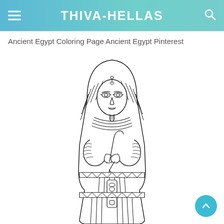THIVA-HELLAS
Ancient Egypt Coloring Page Ancient Egypt Pinterest
[Figure (illustration): Line-art coloring page illustration of an Ancient Egyptian pharaoh sarcophagus / mummy case (King Tut style). Shows the pharaoh bust with striped nemes headdress, crossed arms holding crook and flail, collar, and the lower coffin body with geometric decorations and vertical column strips. Black outlines on white background.]